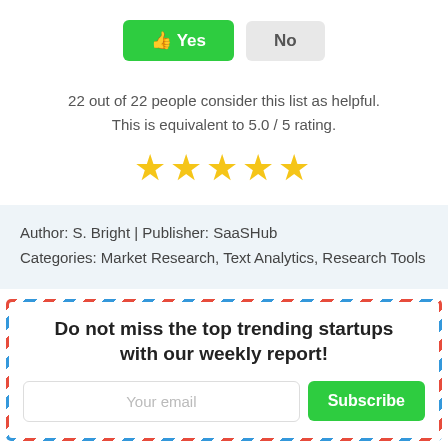[Figure (other): Yes/No voting buttons. 'Yes' is a green button with thumbs-up emoji, 'No' is a grey button.]
22 out of 22 people consider this list as helpful.
This is equivalent to 5.0 / 5 rating.
[Figure (other): Five gold star rating icons]
Author: S. Bright | Publisher: SaaSHub
Categories: Market Research, Text Analytics, Research Tools
Do not miss the top trending startups with our weekly report!
Your email
Subscribe